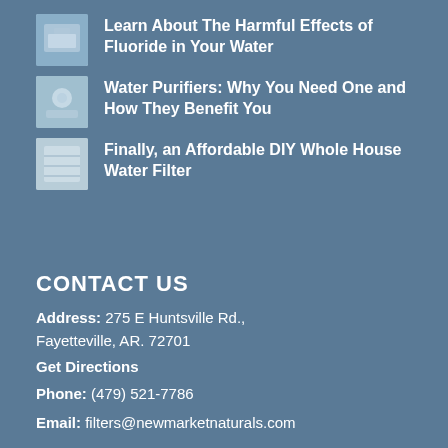Learn About The Harmful Effects of Fluoride in Your Water
Water Purifiers: Why You Need One and How They Benefit You
Finally, an Affordable DIY Whole House Water Filter
CONTACT US
Address: 275 E Huntsville Rd., Fayetteville, AR. 72701
Get Directions
Phone: (479) 521-7786
Email: filters@newmarketnaturals.com